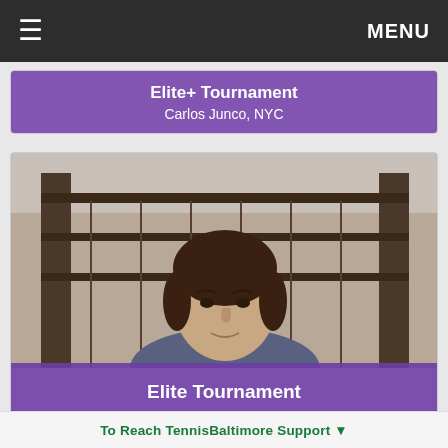≡   MENU
[Figure (photo): Purple banner card showing 'Elite+ Tournament' and 'Carlos Junco, NYC']
Elite+ Tournament
Carlos Junco, NYC
[Figure (photo): Card with portrait photo of a young man outdoors in front of a building, with purple overlay banner]
Elite Tournament
Charles Gould, Ft. Lauderdale
[Figure (photo): Card with photo of a person on a tennis court holding a racket under a blue sky]
To Reach TennisBaltimore Support ▼